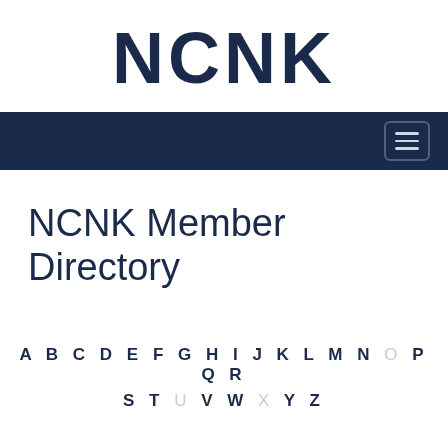NCNK
NCNK Member Directory
A B C D E F G H I J K L M N O P Q R S T U V W X Y Z